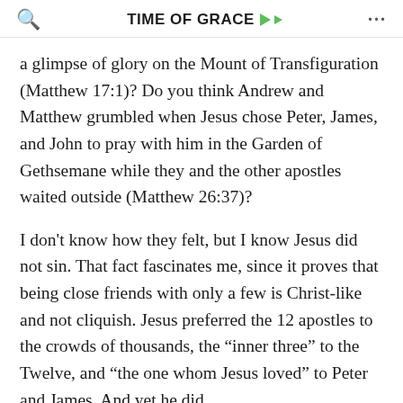TIME OF GRACE
a glimpse of glory on the Mount of Transfiguration (Matthew 17:1)? Do you think Andrew and Matthew grumbled when Jesus chose Peter, James, and John to pray with him in the Garden of Gethsemane while they and the other apostles waited outside (Matthew 26:37)?
I don't know how they felt, but I know Jesus did not sin. That fact fascinates me, since it proves that being close friends with only a few is Christ-like and not cliquish. Jesus preferred the 12 apostles to the crowds of thousands, the “inner three” to the Twelve, and “the one whom Jesus loved” to Peter and James. And yet he did